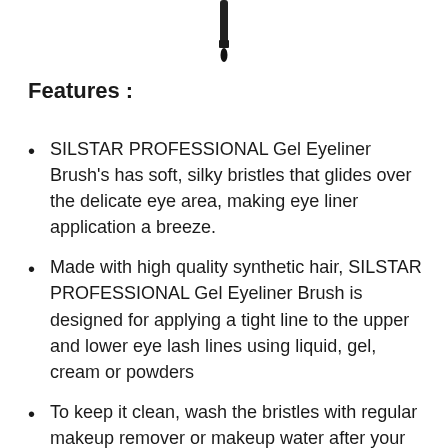[Figure (photo): A black gel eyeliner brush shown vertically, tip pointing down, handle visible at top]
Features :
SILSTAR PROFESSIONAL Gel Eyeliner Brush’s has soft, silky bristles that glides over the delicate eye area, making eye liner application a breeze.
Made with high quality synthetic hair, SILSTAR PROFESSIONAL Gel Eyeliner Brush is designed for applying a tight line to the upper and lower eye lash lines using liquid, gel, cream or powders
To keep it clean, wash the bristles with regular makeup remover or makeup water after your makeup, Repeatedly brush a cotton pad with eyeliner brush